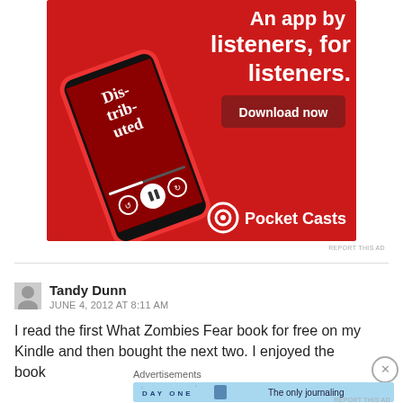[Figure (screenshot): Pocket Casts app advertisement banner on red background featuring a smartphone showing the podcast app interface with text 'An app by listeners, for listeners.' and a 'Download now' button. Pocket Casts logo at bottom right.]
REPORT THIS AD
Tandy Dunn
JUNE 4, 2012 AT 8:11 AM
I read the first What Zombies Fear book for free on my Kindle and then bought the next two. I enjoyed the book
Advertisements
[Figure (screenshot): Day One journaling app advertisement on light blue background with text 'DAY ONE' and 'The only journaling app you'll ever need.' with illustrated icons.]
REPORT THIS AD